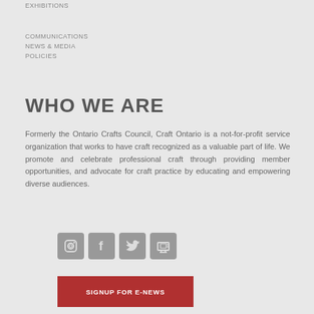EXHIBITIONS
COMMUNICATIONS
NEWS & MEDIA
POLICIES
WHO WE ARE
Formerly the Ontario Crafts Council, Craft Ontario is a not-for-profit service organization that works to have craft recognized as a valuable part of life. We promote and celebrate professional craft through providing member opportunities, and advocate for craft practice by educating and empowering diverse audiences.
[Figure (infographic): Four social media icon buttons in grey square rounded boxes: Instagram camera icon, Facebook 'f' icon, Twitter bird icon, and a TV/media icon]
SIGNUP FOR E-NEWS